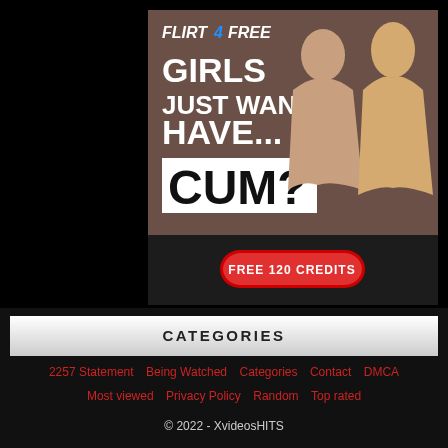[Figure (illustration): Flirt4Free advertisement banner. Dark brown background with two women. Left side text reads: FLIRT4FREE logo, GIRLS JUST WANNA HAVE... CUM? in white bold text. Bottom black bar with red oval button reading FREE 120 CREDITS.]
CATEGORIES
2257 Statement  Being Watched  Categories  Contact  DMCA  Most viewed  Privacy Policy  Random  Top rated
© 2022 - XvideosHITS